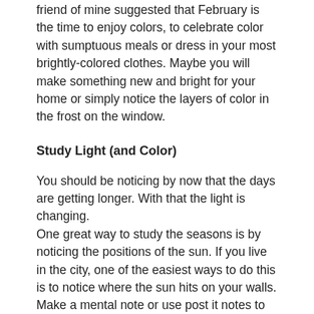friend of mine suggested that February is the time to enjoy colors, to celebrate color with sumptuous meals or dress in your most brightly-colored clothes. Maybe you will make something new and bright for your home or simply notice the layers of color in the frost on the window.
Study Light (and Color)
You should be noticing by now that the days are getting longer. With that the light is changing.
One great way to study the seasons is by noticing the positions of the sun. If you live in the city, one of the easiest ways to do this is to notice where the sun hits on your walls. Make a mental note or use post it notes to mark it. Check how it is changing every week throughout the month.
If you live on a farm and do chores outside, it is probably even easier to notice. We don't have electricity in our barn, so our chore time depends on the sun. It is good practice to